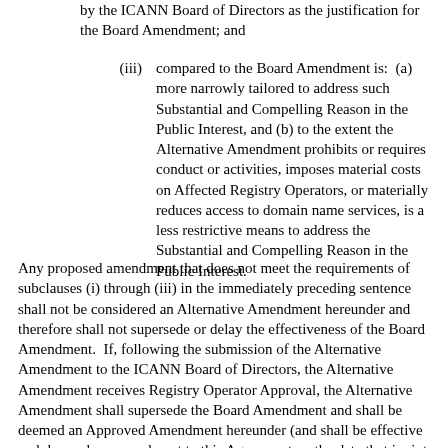by the ICANN Board of Directors as the justification for the Board Amendment; and
(iii) compared to the Board Amendment is: (a) more narrowly tailored to address such Substantial and Compelling Reason in the Public Interest, and (b) to the extent the Alternative Amendment prohibits or requires conduct or activities, imposes material costs on Affected Registry Operators, or materially reduces access to domain name services, is a less restrictive means to address the Substantial and Compelling Reason in the Public Interest.
Any proposed amendment that does not meet the requirements of subclauses (i) through (iii) in the immediately preceding sentence shall not be considered an Alternative Amendment hereunder and therefore shall not supersede or delay the effectiveness of the Board Amendment. If, following the submission of the Alternative Amendment to the ICANN Board of Directors, the Alternative Amendment receives Registry Operator Approval, the Alternative Amendment shall supersede the Board Amendment and shall be deemed an Approved Amendment hereunder (and shall be effective and deemed an amendment to this Agreement on the date that is sixty (60) calendar days following the date ICANN provided notice of the approval of such Alternative Amendment to Registry